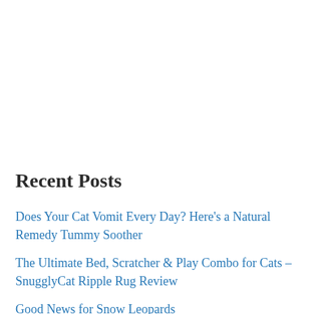Recent Posts
Does Your Cat Vomit Every Day? Here’s a Natural Remedy Tummy Soother
The Ultimate Bed, Scratcher & Play Combo for Cats – SnugglyCat Ripple Rug Review
Good News for Snow Leopards